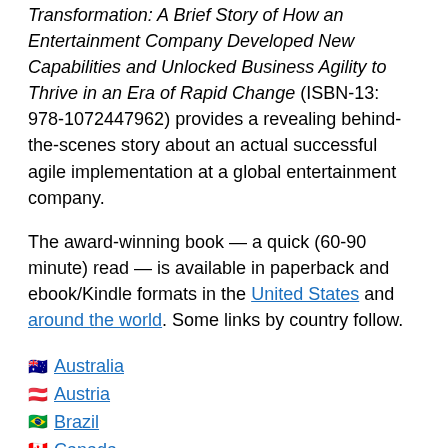Transformation: A Brief Story of How an Entertainment Company Developed New Capabilities and Unlocked Business Agility to Thrive in an Era of Rapid Change (ISBN-13: 978-1072447962) provides a revealing behind-the-scenes story about an actual successful agile implementation at a global entertainment company.
The award-winning book — a quick (60-90 minute) read — is available in paperback and ebook/Kindle formats in the United States and around the world. Some links by country follow.
🇦🇺 Australia
🇦🇹 Austria
🇧🇷 Brazil
🇨🇦 Canada